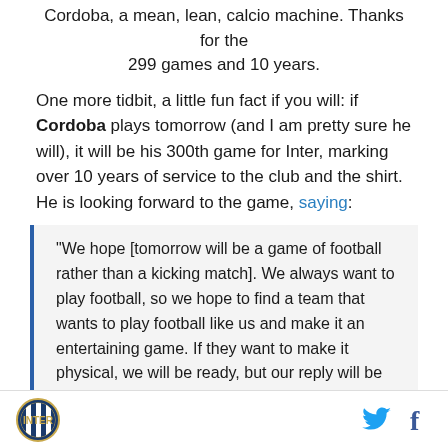Cordoba, a mean, lean, calcio machine. Thanks for the 299 games and 10 years.
One more tidbit, a little fun fact if you will: if Cordoba plays tomorrow (and I am pretty sure he will), it will be his 300th game for Inter, marking over 10 years of service to the club and the shirt. He is looking forward to the game, saying:
"We hope [tomorrow will be a game of football rather than a kicking match]. We always want to play football, so we hope to find a team that wants to play football like us and make it an entertaining game. If they want to make it physical, we will be ready, but our reply will be with the ball, with the football."
Inter logo, Twitter and Facebook icons